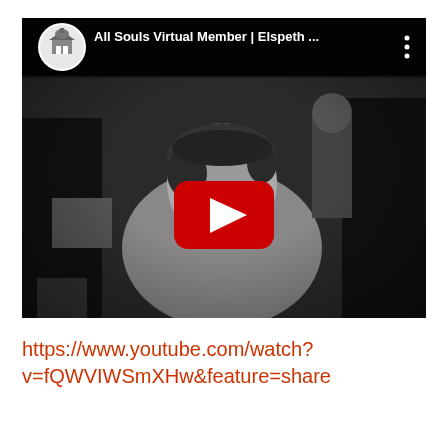[Figure (screenshot): YouTube video thumbnail showing a black and white image of a woman seated, with a YouTube play button overlay. The video header shows a circular church/building logo, the title 'All Souls Virtual Member | Elspeth ...' and a vertical three-dot menu icon on a dark background.]
https://www.youtube.com/watch?v=fQWVIWSmXHw&feature=share